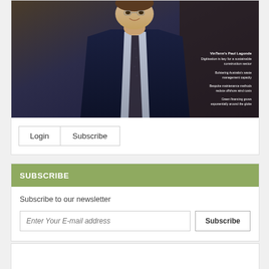[Figure (photo): Magazine cover showing a man in a dark suit and tie seated in a chair, smiling. Cover text includes headlines about digitisation, waste management, offshore wind, and green financing.]
VinTerm's Paul Lagonde
Digitisation is key for a sustainable construction sector
Bolstering Australia's waste management capacity
Bespoke maintenance methods reduce offshore wind costs
Green financing grows exponentially around the globe
Login    Subscribe
SUBSCRIBE
Subscribe to our newsletter
Enter Your E-mail address    Subscribe